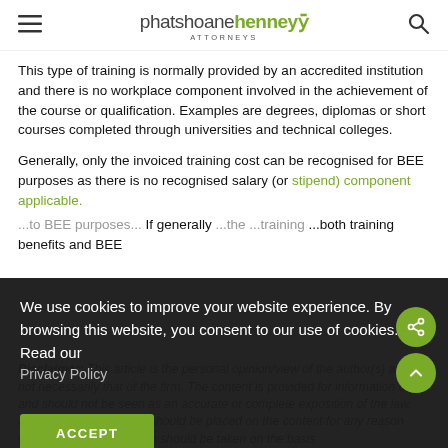phatshoanehenney ATTORNEYS
This type of training is normally provided by an accredited institution and there is no workplace component involved in the achievement of the course or qualification. Examples are degrees, diplomas or short courses completed through universities and technical colleges.
Generally, only the invoiced training cost can be recognised for BEE purposes as there is no recognised salary (or stipend) component applicable.
[partially obscured by cookie overlay] ...to BEE purposes... If generally ...the ...training ...both training benefits and BEE...
Disclaimer: This article is the personal opinion/view of the author(s) and is not necessarily that of the firm. The content is provided for information only and should not be seen as an accurate or complete exposition of the law. Accordingly, no reliance should be placed on the content for any reason whatsoever and no action should be taken on the basis
[Figure (other): Cookie consent overlay with accept button. Dark semi-transparent background. Text reads: We use cookies to improve your website experience. By browsing this website, you consent to our use of cookies. Read our Privacy Policy. Accept button in olive green.]